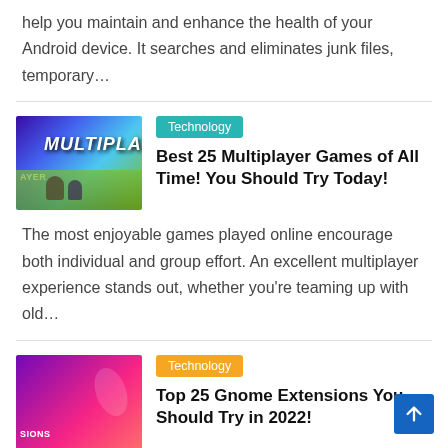help you maintain and enhance the health of your Android device. It searches and eliminates junk files, temporary…
[Figure (photo): Multiplayer games thumbnail with purple/green background and bold 'MULTIPLAYER' text]
Technology
Best 25 Multiplayer Games of All Time! You Should Try Today!
The most enjoyable games played online encourage both individual and group effort. An excellent multiplayer experience stands out, whether you're teaming up with old…
[Figure (photo): Gnome Extensions thumbnail with purple/pink gradient background and text 'SIONS']
Technology
Top 25 Gnome Extensions You Should Try in 2022!